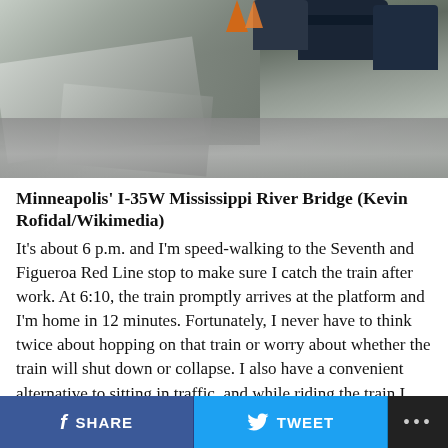[Figure (photo): Aerial photo of collapsed I-35W Mississippi River Bridge in Minneapolis, showing debris, damaged road sections, and vehicles]
Minneapolis’ I-35W Mississippi River Bridge (Kevin Rofidal/Wikimedia)
It’s about 6 p.m. and I’m speed-walking to the Seventh and Figueroa Red Line stop to make sure I catch the train after work. At 6:10, the train promptly arrives at the platform and I’m home in 12 minutes. Fortunately, I never have to think twice about hopping on that train or worry about whether the train will shut down or collapse. I also have a convenient alternative to sitting in traffic, and while riding the train I feel secure knowing that our subway system was safely built by skilled hands thanks to government investment in our transit system
SHARE   TWEET